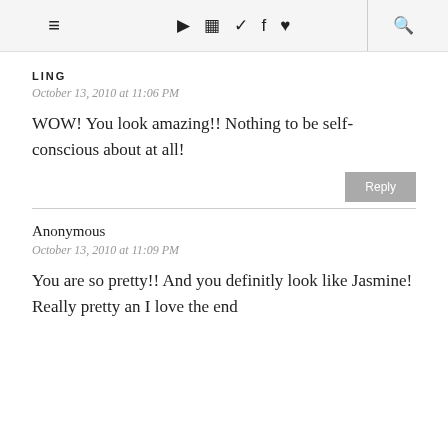≡ ▶ ⊡ ♦ f ♥ 🔍
LING
October 13, 2010 at 11:06 PM
WOW! You look amazing!! Nothing to be self-conscious about at all!
Reply
Anonymous
October 13, 2010 at 11:09 PM
You are so pretty!! And you definitly look like Jasmine! Really pretty an I love the end